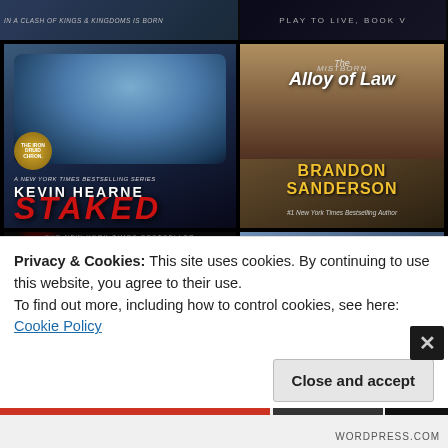[Figure (screenshot): Website screenshot showing a grid of fantasy book covers. Top partial strip shows two books. Row 1: 'Staked' by Kevin Hearne (dark action cover), 'The Alloy of Law' by Brandon Sanderson (sepia western fantasy cover). Row 2: 'Blood Rising' (dark cover with red wing/phoenix, title in vertical red text), Bradley P. Beaulieu book (fantasy castle/tower cover). Over the books is a white cookie consent banner and a close button.]
Privacy & Cookies: This site uses cookies. By continuing to use this website, you agree to their use.
To find out more, including how to control cookies, see here: Cookie Policy
Close and accept